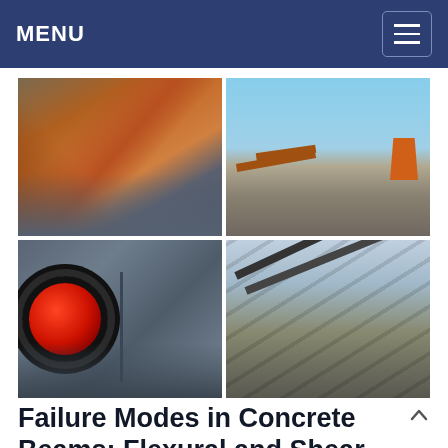MENU
[Figure (photo): Four-panel photo grid showing industrial mining/crushing equipment: top-left shows orange conveyor/structural framework machinery, top-right shows outdoor aggregate processing plant with orange hopper against clear blue sky, bottom-left shows close-up of a cylindrical roller bearing with prominent red circle bullseye marking on grey steel frame, bottom-right shows multiple inclined belt conveyors at an industrial site.]
Failure Modes in Concrete Beams: Flexural and Shear ...